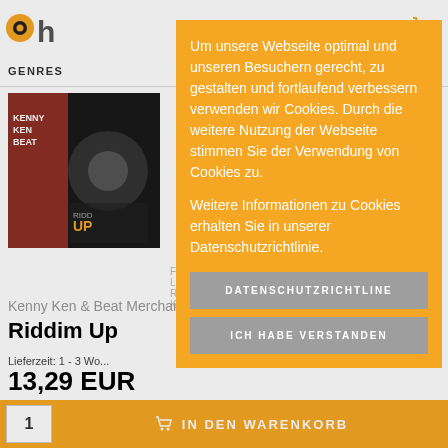ohh [logo] [cart icon]
GENRES
[Figure (photo): Album cover for Kenny Ken & Beat Merchants feat. Ezi Star - Riddim Up]
Kenny Ken & Beat Merchants (feat. Ezi Star)
Riddim Up
Lieferzeit: 1 - 3 Wo...
13,29 EUR
alle Preise inkl. 19% MwSt., zzgl. Versandkosten
Um unsere Webseite optimal und unseren Besuchern gerecht, zu gestalten und fortlaufend verbessern verwenden wir Cookies. Durch die weitere Nutzung der Webseite stimmen Sie der Verwendung von Cookies zu.
Weitere Informationen zu Cookies erhalten Sie in unserer Datenschutzrichtlinie.
DATENSCHUTZRICHTLINE
ICH HABE VERSTANDEN
IN DEN WARENKORB